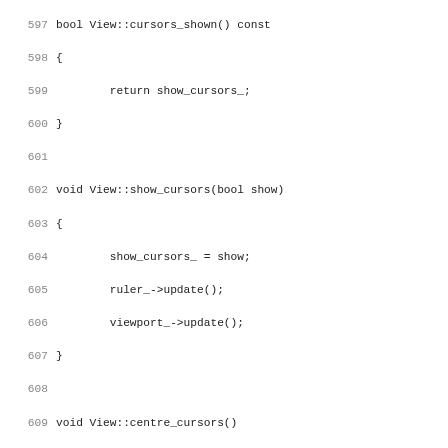Source code listing, lines 597-628+, C++ View class methods: cursors_shown, show_cursors, centre_cursors, cursors, add_flag